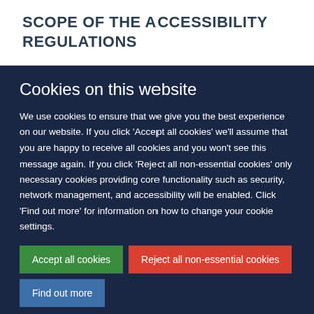SCOPE OF THE ACCESSIBILITY REGULATIONS
Cookies on this website
We use cookies to ensure that we give you the best experience on our website. If you click 'Accept all cookies' we'll assume that you are happy to receive all cookies and you won't see this message again. If you click 'Reject all non-essential cookies' only necessary cookies providing core functionality such as security, network management, and accessibility will be enabled. Click 'Find out more' for information on how to change your cookie settings.
Accept all cookies
Reject all non-essential cookies
Find out more